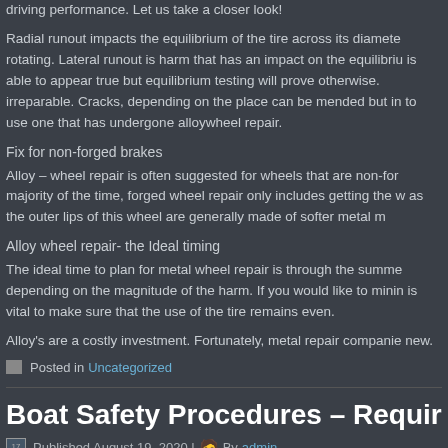driving performance. Let us take a closer look!
Radial runout impacts the equilibrium of the tire across its diameter rotating. Lateral runout is harm that has an impact on the equilibriu is able to appear true but equilibrium testing will prove otherwise. irreparable. Cracks, depending on the place can be mended but in to use one that has undergone alloywheel repair.
Fix for non-forged brakes
Alloy – wheel repair is often suggested for wheels that are non-for majority of the time, forged wheel repair only includes getting the w as the outer lips of this wheel are generally made of softer metal m
Alloy wheel repair- the Ideal timing
The ideal time to plan for metal wheel repair is through the summe depending on the magnitude of the harm. If you would like to minin is vital to make sure that the use of the tire remains even.
Alloy's are a costly investment. Fortunately, metal repair companie new.
Posted in Uncategorized
Boat Safety Procedures – Requireme
Published August 19, 2020 | By admin
Boat Safety Procedures – Prerequisites For Boating